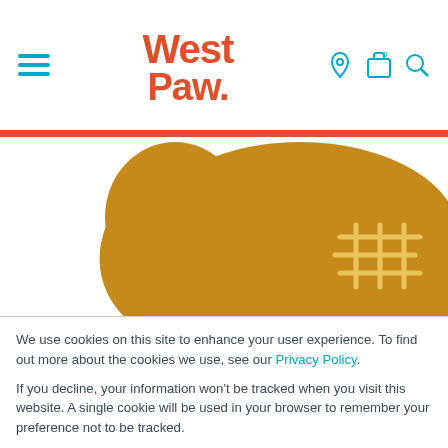[Figure (logo): West Paw logo in red/orange bold font with hamburger menu and icons]
[Figure (illustration): Illustration of a golden-brown dog bone/chew toy with cross-hatch stitching pattern]
We use cookies on this site to enhance your user experience. To find out more about the cookies we use, see our Privacy Policy.
If you decline, your information won't be tracked when you visit this website. A single cookie will be used in your browser to remember your preference not to be tracked.